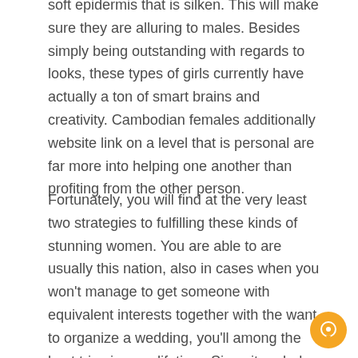soft epidermis that is silken. This will make sure they are alluring to males. Besides simply being outstanding with regards to looks, these types of girls currently have actually a ton of smart brains and creativity. Cambodian females additionally website link on a level that is personal are far more into helping one another than profiting from the other person.
Fortunately, you will find at the very least two strategies to fulfilling these kinds of stunning women. You are able to are usually this nation, also in cases when you won't manage to get someone with equivalent interests together with the want to organize a wedding, you'll among the best trips in your lifetime. Since it ended up being mentioned previously, Cambodia is just a stunningly beautiful nation.
[Figure (other): Orange circular chat/support button in the bottom-right corner]